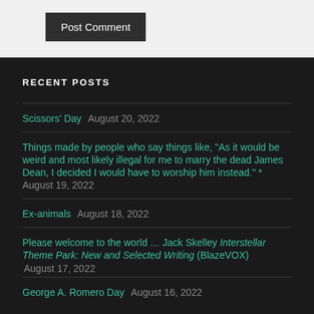Post Comment
RECENT POSTS
Scissors' Day  August 20, 2022
Things made by people who say things like, “As it would be weird and most likely illegal for me to marry the dead James Dean, I decided I would have to worship him instead.” *  August 19, 2022
Ex-animals  August 18, 2022
Please welcome to the world … Jack Skelley Interstellar Theme Park: New and Selected Writing (BlazeVOX)  August 17, 2022
George A. Romero Day  August 16, 2022